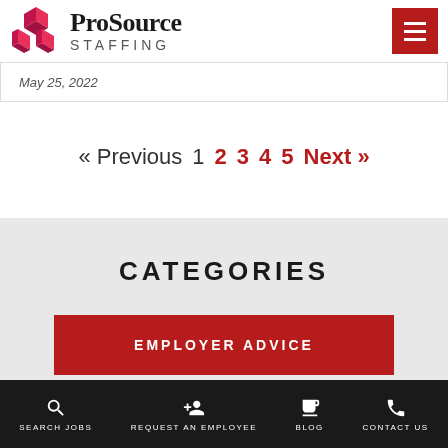[Figure (logo): ProSource Staffing logo with red cube graphic and bold text]
May 25, 2022
« Previous 1 2 3 4 5 Next »
CATEGORIES
EMPLOYER ADVICE
SEARCH JOBS  REQUEST AN EMPLOYEE  BLOG  CONTACT US